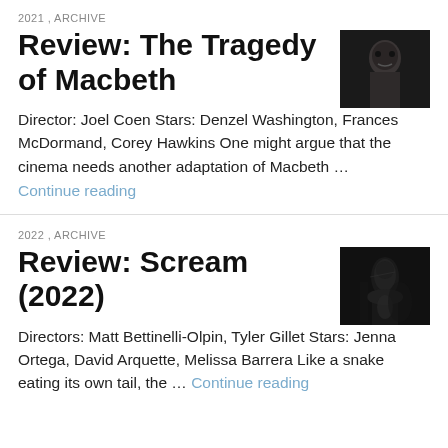2021 , ARCHIVE
Review: The Tragedy of Macbeth
[Figure (photo): Black and white close-up photo of a person]
Director: Joel Coen Stars: Denzel Washington, Frances McDormand, Corey Hawkins One might argue that the cinema needs another adaptation of Macbeth …
Continue reading
2022 , ARCHIVE
Review: Scream (2022)
[Figure (photo): Dark moody photo of a figure in black]
Directors: Matt Bettinelli-Olpin, Tyler Gillet Stars: Jenna Ortega, David Arquette, Melissa Barrera Like a snake eating its own tail, the … Continue reading